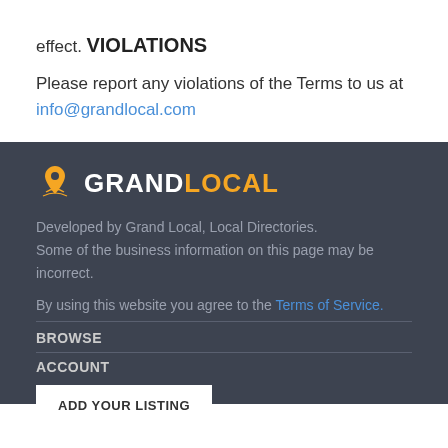effect.
VIOLATIONS
Please report any violations of the Terms to us at info@grandlocal.com
[Figure (logo): Grand Local logo with map pin icon, 'GRAND' in white and 'LOCAL' in orange on dark background]
Developed by Grand Local, Local Directories.
Some of the business information on this page may be incorrect.
By using this website you agree to the Terms of Service.
BROWSE
ACCOUNT
ADD YOUR LISTING